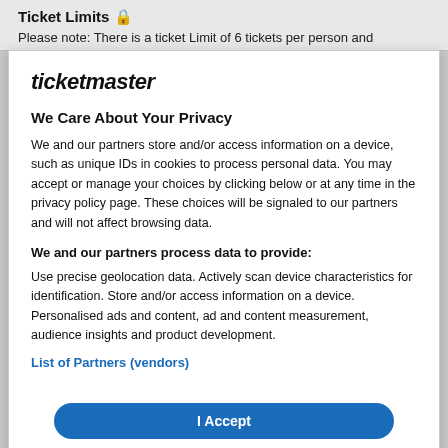Ticket Limits 🔒
Please note: There is a ticket Limit of 6 tickets per person and
[Figure (screenshot): Ticketmaster privacy consent modal dialog with logo, privacy notice text, partners data usage description, List of Partners (vendors) link, and I Accept button]
ticketmaster
We Care About Your Privacy
We and our partners store and/or access information on a device, such as unique IDs in cookies to process personal data. You may accept or manage your choices by clicking below or at any time in the privacy policy page. These choices will be signaled to our partners and will not affect browsing data.
We and our partners process data to provide:
Use precise geolocation data. Actively scan device characteristics for identification. Store and/or access information on a device. Personalised ads and content, ad and content measurement, audience insights and product development.
List of Partners (vendors)